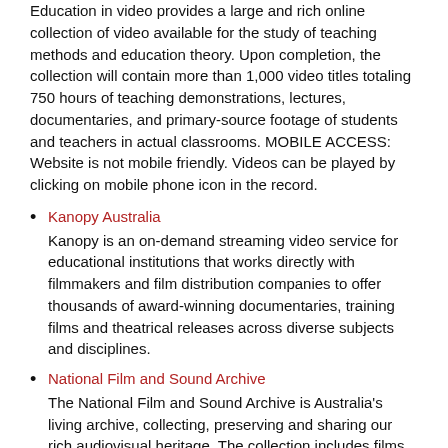Education in video provides a large and rich online collection of video available for the study of teaching methods and education theory. Upon completion, the collection will contain more than 1,000 video titles totaling 750 hours of teaching demonstrations, lectures, documentaries, and primary-source footage of students and teachers in actual classrooms. MOBILE ACCESS: Website is not mobile friendly. Videos can be played by clicking on mobile phone icon in the record.
Kanopy Australia
Kanopy is an on-demand streaming video service for educational institutions that works directly with filmmakers and film distribution companies to offer thousands of award-winning documentaries, training films and theatrical releases across diverse subjects and disciplines.
National Film and Sound Archive
The National Film and Sound Archive is Australia's living archive, collecting, preserving and sharing our rich audiovisual heritage. The collection includes films, television and radio programs, videos, audio tapes, records, compact discs, phonograph cylinders, wire recordings and oral histories.
Screen Australia Library
The Screen Australia Library on line collection of film, video, sound recordings and photographs, in which Commonwealth of Australia holds copyright Currently, there are more than 21,000 records available online